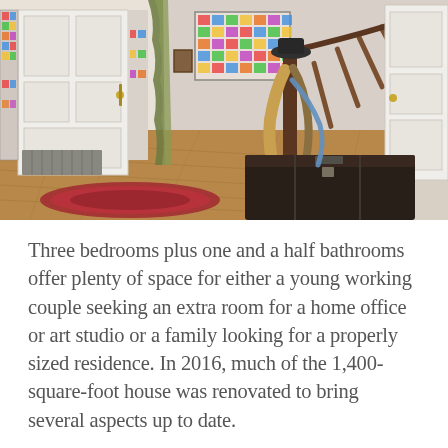[Figure (photo): Interior entryway of a home featuring stained glass sidelights on a white front door with olive/green curtain, hardwood floors, a red oriental rug, a wood staircase with spindle railing, a dark antique trunk, a colorful framed artwork on the wall, and coats hanging on the newel post.]
Three bedrooms plus one and a half bathrooms offer plenty of space for either a young working couple seeking an extra room for a home office or art studio or a family looking for a properly sized residence. In 2016, much of the 1,400-square-foot house was renovated to bring several aspects up to date.